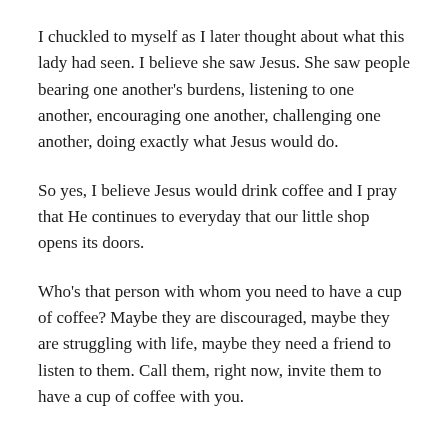I chuckled to myself as I later thought about what this lady had seen.  I believe she saw Jesus.  She saw people bearing one another's burdens, listening to one another, encouraging one another, challenging one another, doing exactly what Jesus would do.
So yes, I believe Jesus would drink coffee and I pray that He continues to everyday that our little shop opens its doors.
Who's that person with whom you need to have a cup of coffee?  Maybe they are discouraged, maybe they are struggling with life, maybe they need a friend to listen to them.  Call them, right now, invite them to have a cup of coffee with you.